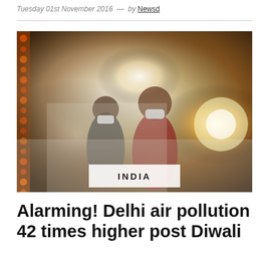Tuesday 01st November 2016  —  by Newsd
[Figure (photo): Two people wearing face masks standing amid heavy smoke and fireworks during Diwali celebrations in India. The scene is very hazy with smoke. A white label box at the bottom center of the image reads INDIA.]
Alarming! Delhi air pollution 42 times higher post Diwali